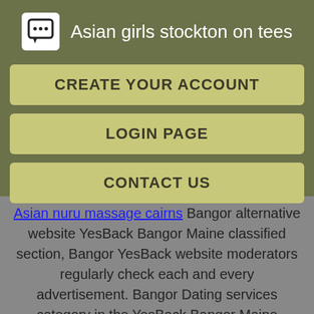Asian girls stockton on tees
CREATE YOUR ACCOUNT
LOGIN PAGE
CONTACT US
Asian nuru massage cairns Bangor alternative website YesBack Bangor Maine classified section, Bangor YesBack website moderators regularly check each and every advertisement. Bangor Dating services category in the YesBack Bangor Maine classified section: Back Bangor was the top website